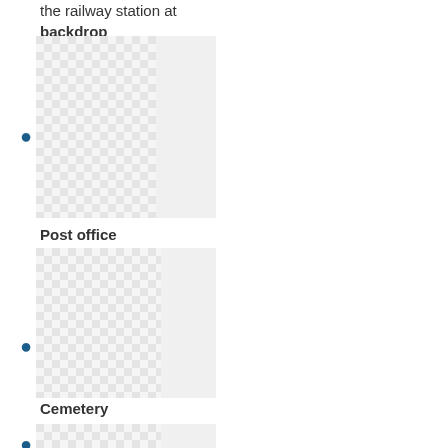the railway station at backdrop
[Figure (illustration): Checkered placeholder image representing 'backdrop' scene]
Post office
[Figure (illustration): Checkered placeholder image representing 'Post office' scene]
Cemetery
[Figure (illustration): Checkered placeholder image representing 'Cemetery' scene]